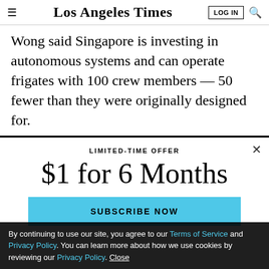Los Angeles Times
Wong said Singapore is investing in autonomous systems and can operate frigates with 100 crew members — 50 fewer than they were originally designed for.
ADVERTISEMENT
[Figure (screenshot): Subscription modal overlay with 'LIMITED-TIME OFFER $1 for 6 Months' and a 'SUBSCRIBE NOW' button in blue]
By continuing to use our site, you agree to our Terms of Service and Privacy Policy. You can learn more about how we use cookies by reviewing our Privacy Policy. Close